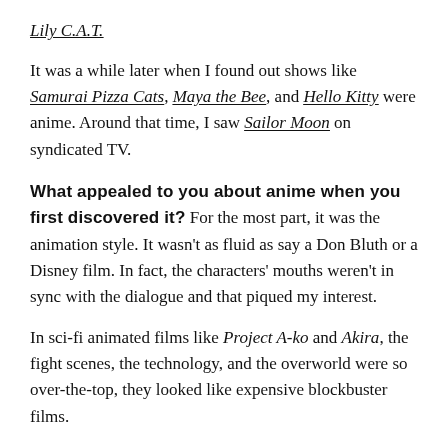Lily C.A.T.
It was a while later when I found out shows like Samurai Pizza Cats, Maya the Bee, and Hello Kitty were anime. Around that time, I saw Sailor Moon on syndicated TV.
What appealed to you about anime when you first discovered it? For the most part, it was the animation style. It wasn't as fluid as say a Don Bluth or a Disney film. In fact, the characters' mouths weren't in sync with the dialogue and that piqued my interest.
In sci-fi animated films like Project A-ko and Akira, the fight scenes, the technology, and the overworld were so over-the-top, they looked like expensive blockbuster films.
What would you say was the most popular anime at